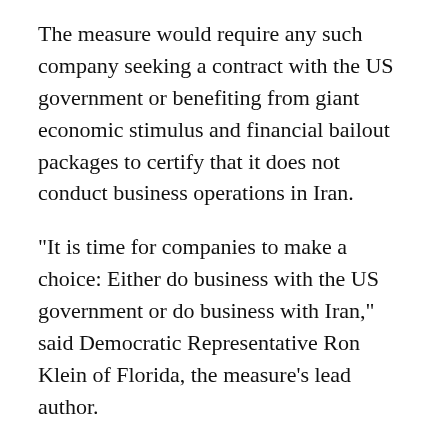The measure would require any such company seeking a contract with the US government or benefiting from giant economic stimulus and financial bailout packages to certify that it does not conduct business operations in Iran.
"It is time for companies to make a choice: Either do business with the US government or do business with Iran," said Democratic Representative Ron Klein of Florida, the measure's lead author.
Any false certification would result in a ban on doing business with the US government.
US companies are already prohibited under US law